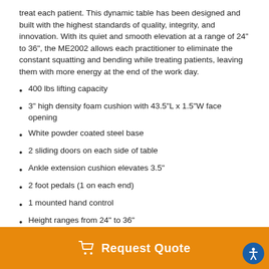treat each patient. This dynamic table has been designed and built with the highest standards of quality, integrity, and innovation. With its quiet and smooth elevation at a range of 24" to 36", the ME2002 allows each practitioner to eliminate the constant squatting and bending while treating patients, leaving them with more energy at the end of the work day.
400 lbs lifting capacity
3" high density foam cushion with 43.5"L x 1.5"W face opening
White powder coated steel base
2 sliding doors on each side of table
Ankle extension cushion elevates 3.5"
2 foot pedals (1 on each end)
1 mounted hand control
Height ranges from 24" to 36"
Request Quote